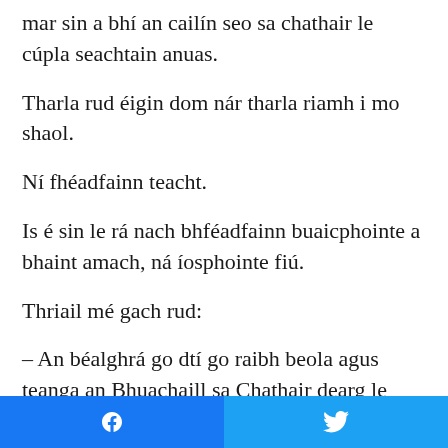mar sin a bhí an cailín seo sa chathair le cúpla seachtain anuas.
Tharla rud éigin dom nár tharla riamh i mo shaol.
Ní fhéadfainn teacht.
Is é sin le rá nach bhféadfainn buaicphointe a bhaint amach, ná íosphointe fiú.
Thriail mé gach rud:
– An béalghrá go dtí go raibh beola agus teanga an Bhuachaill sa Chathair dearg le fearg.
– Thriail mé suathaireacht, agus óla álainn speisialta a bheith cuimilte ar gach ball coirp.
Facebook | Twitter